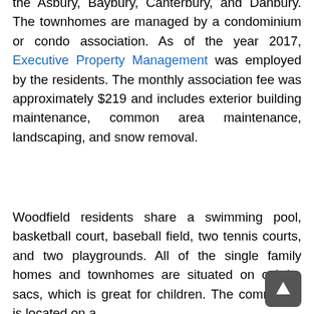the Asbury, Baybury, Canterbury, and Danbury. The townhomes are managed by a condominium or condo association. As of the year 2017, Executive Property Management was employed by the residents. The monthly association fee was approximately $219 and includes exterior building maintenance, common area maintenance, landscaping, and snow removal.
Woodfield residents share a swimming pool, basketball court, baseball field, two tennis courts, and two playgrounds. All of the single family homes and townhomes are situated on cul-de-sacs, which is great for children. The community is located on a